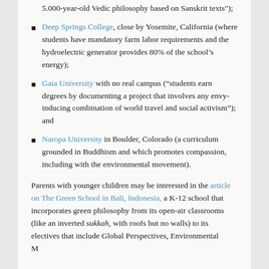5.000-year-old Vedic philosophy based on Sanskrit texts");
Deep Springs College, close by Yosemite, California (where students have mandatory farm labor requirements and the hydroelectric generator provides 80% of the school’s energy);
Gaia University with no real campus (“students earn degrees by documenting a project that involves any envy-inducing combination of world travel and social activism”); and
Naropa University in Boulder, Colorado (a curriculum grounded in Buddhism and which promotes compassion, including with the environmental movement).
Parents with younger children may be interested in the article on The Green School in Bali, Indonesia, a K-12 school that incorporates green philosophy from its open-air classrooms (like an inverted sukkah, with roofs but no walls) to its electives that include Global Perspectives, Environmental Management and 21st Century Science. I first heard of The